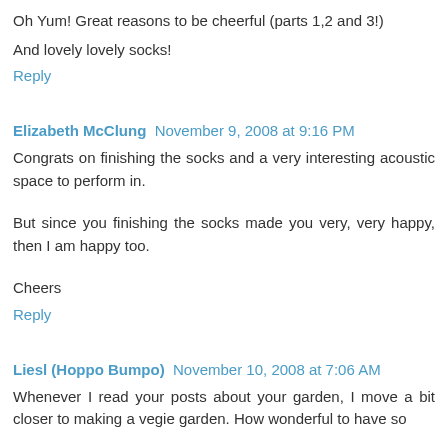Oh Yum! Great reasons to be cheerful (parts 1,2 and 3!)
And lovely lovely socks!
Reply
Elizabeth McClung   November 9, 2008 at 9:16 PM
Congrats on finishing the socks and a very interesting acoustic space to perform in.
But since you finishing the socks made you very, very happy, then I am happy too.
Cheers
Reply
Liesl (Hoppo Bumpo)   November 10, 2008 at 7:06 AM
Whenever I read your posts about your garden, I move a bit closer to making a vegie garden. How wonderful to have so